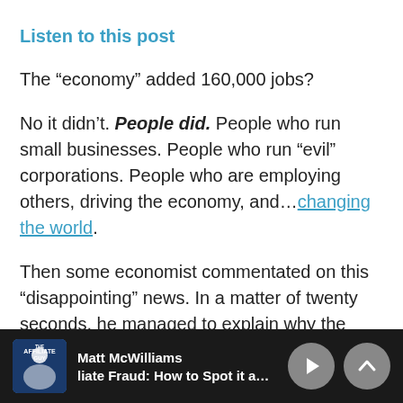Listen to this post
The “economy” added 160,000 jobs?
No it didn’t. People did. People who run small businesses. People who run “evil” corporations. People who are employing others, driving the economy, and…changing the world.
Then some economist commentated on this “disappointing” news. In a matter of twenty seconds, he managed to explain why the numbers were
[Figure (screenshot): Audio player bar at the bottom showing The Affiliate Guy podcast by Matt McWilliams with episode title 'liate Fraud: How to Spot it and What', play button and up chevron button]
Matt McWilliams
liate Fraud: How to Spot it and What